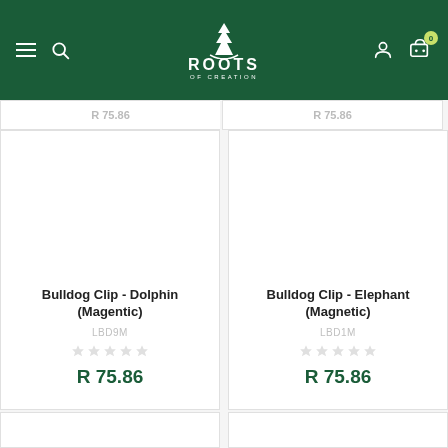Roots of Creation — navigation header with logo, hamburger menu, search, user account, and cart (0 items)
Bulldog Clip - Dolphin (Magentic), SKU: LBD9M, R 75.86
Bulldog Clip - Elephant (Magnetic), SKU: LBD1M, R 75.86